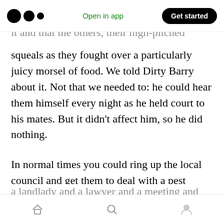Medium logo | Open in app | Get started
squeals as they fought over a particularly juicy morsel of food. We told Dirty Barry about it. Not that we needed to: he could hear them himself every night as he held court to his mates. But it didn't affect him, so he did nothing.
In normal times you could ring up the local council and get them to deal with a pest infestation but the UK had closed — I couldn't even get an emergency dental appointment so good luck with finding a rat catcher.
Home | Search | Profile